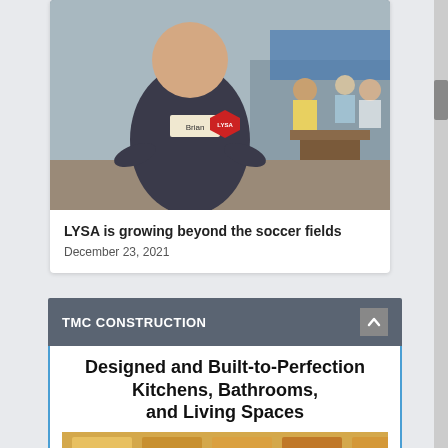[Figure (photo): Person wearing a dark t-shirt with a name tag reading 'Brian' and a LYSA logo, standing with hands on hips. Background shows people sitting at outdoor tables.]
LYSA is growing beyond the soccer fields
December 23, 2021
TMC CONSTRUCTION
Designed and Built-to-Perfection Kitchens, Bathrooms, and Living Spaces
[Figure (photo): Construction or kitchen renovation photo showing yellow/orange materials at the bottom of the widget.]